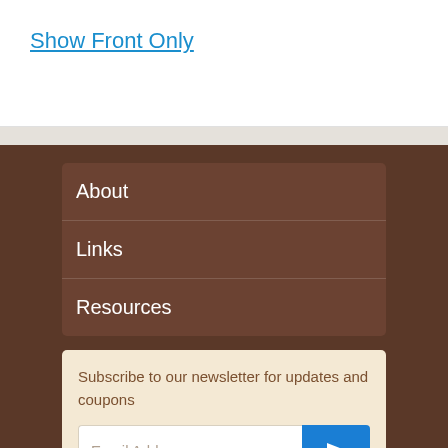Show Front Only
About
Links
Resources
Subscribe to our newsletter for updates and coupons
Email Address